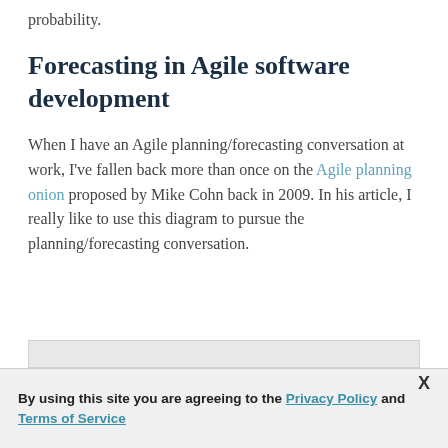probability.
Forecasting in Agile software development
When I have an Agile planning/forecasting conversation at work, I've fallen back more than once on the Agile planning onion proposed by Mike Cohn back in 2009. In his article, I really like to use this diagram to pursue the planning/forecasting conversation.
[Figure (other): Partial image visible at bottom of page, appears to be a diagram or chart (cropped)]
By using this site you are agreeing to the Privacy Policy and Terms of Service